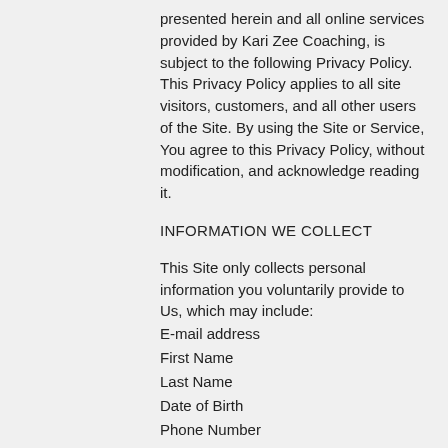presented herein and all online services provided by Kari Zee Coaching, is subject to the following Privacy Policy. This Privacy Policy applies to all site visitors, customers, and all other users of the Site. By using the Site or Service, You agree to this Privacy Policy, without modification, and acknowledge reading it.
INFORMATION WE COLLECT
This Site only collects personal information you voluntarily provide to Us, which may include:
E-mail address
First Name
Last Name
Date of Birth
Phone Number
The information you provide is used to process transactions, send periodic emails, and improve the Service we provide. We do share your information with trusted third parties who assist Us in operating Our Website, conducting Our business and servicing clients and visitors. These trusted third parties agree to keep this information confidential.